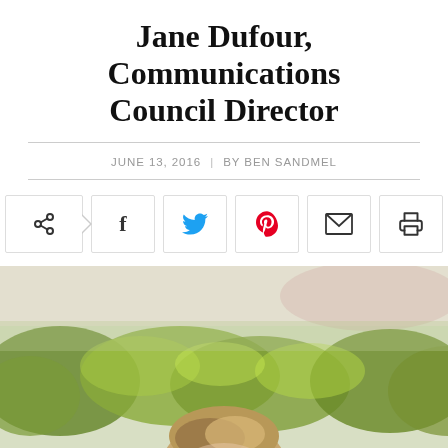Jane Dufour, Communications Council Director
JUNE 13, 2016  |  BY BEN SANDMEL
[Figure (infographic): Social sharing toolbar with share, Facebook, Twitter, Pinterest, email, and print buttons]
[Figure (photo): Outdoor photo of a woman with blonde hair in front of blurred green hedges]